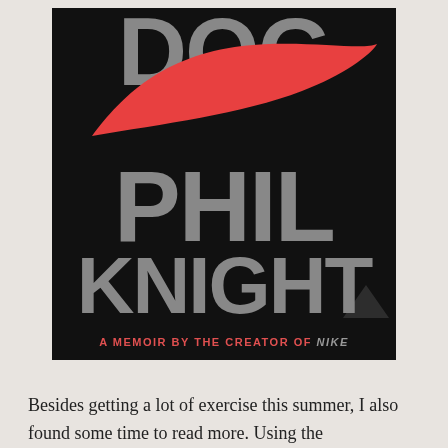[Figure (illustration): Book cover of 'Shoe Dog' by Phil Knight – black background with large gray text reading 'DOG', 'PHIL', 'KNIGHT', a red Nike swoosh logo, and subtitle 'A MEMOIR BY THE CREATOR OF NIKE' in red and gray italic text]
Besides getting a lot of exercise this summer, I also found some time to read more. Using the